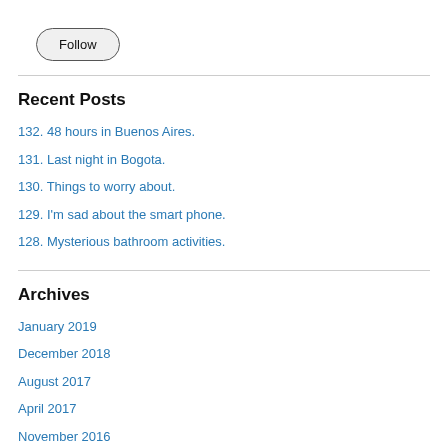[Figure (other): A 'Follow' button with rounded pill shape and light gray background]
Recent Posts
132. 48 hours in Buenos Aires.
131. Last night in Bogota.
130. Things to worry about.
129. I'm sad about the smart phone.
128. Mysterious bathroom activities.
Archives
January 2019
December 2018
August 2017
April 2017
November 2016